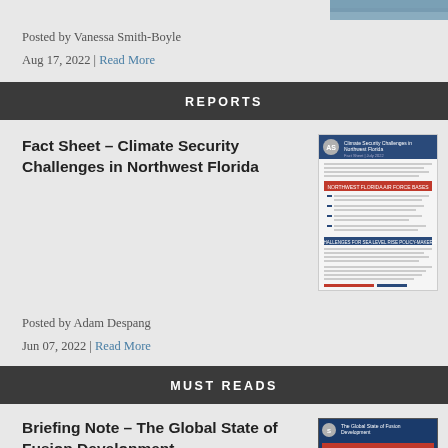[Figure (photo): Partial image at top right, appears to be a road or landscape photograph]
Posted by Vanessa Smith-Boyle
Aug 17, 2022 | Read More
REPORTS
Fact Sheet – Climate Security Challenges in Northwest Florida
[Figure (screenshot): Thumbnail of ASP report: Climate Security Challenges in Northwest Florida]
Posted by Adam Despang
Jun 07, 2022 | Read More
MUST READS
Briefing Note – The Global State of Fusion Development
[Figure (screenshot): Thumbnail of ASP briefing note: The Global State of Fusion Development]